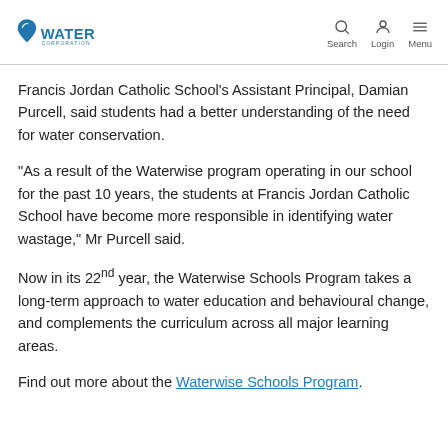Water Corporation — Search Login Menu
Francis Jordan Catholic School's Assistant Principal, Damian Purcell, said students had a better understanding of the need for water conservation.
“As a result of the Waterwise program operating in our school for the past 10 years, the students at Francis Jordan Catholic School have become more responsible in identifying water wastage,” Mr Purcell said.
Now in its 22nd year, the Waterwise Schools Program takes a long-term approach to water education and behavioural change, and complements the curriculum across all major learning areas.
Find out more about the Waterwise Schools Program.